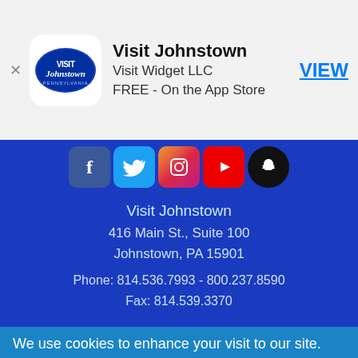[Figure (screenshot): App store banner for Visit Johnstown app by Visit Widget LLC, free on the App Store, with VIEW link]
[Figure (infographic): Social media icons row: Facebook, Twitter, Instagram, YouTube, Snapchat on blue background]
Visit Johnstown
416 Main St., Suite 100
Johnstown, PA 15901
Phone: 814.536.7993 - 800.237.8590
Fax: 814.539.3370
[Figure (logo): Pennsylvania Pursue your happiness logo]
PLAY
Arts
Family Fun
Our Communities
We use cookies to enhance your visit to our site.